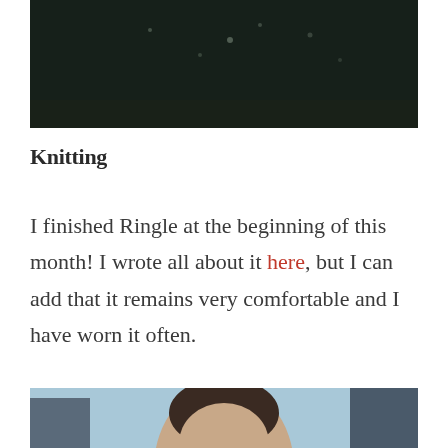[Figure (photo): Dark/black background photo at top of page, partially visible]
Knitting
I finished Ringle at the beginning of this month! I wrote all about it here, but I can add that it remains very comfortable and I have worn it often.
[Figure (photo): Photo of a person with short dark hair outdoors, with buildings and blue sky in background]